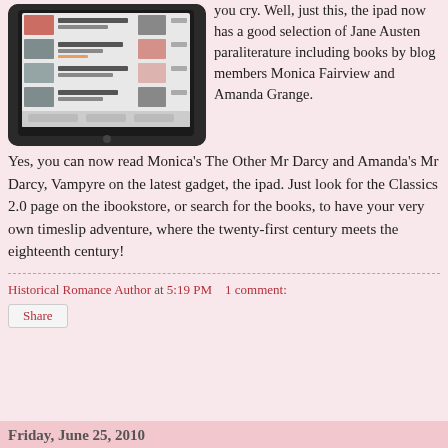[Figure (screenshot): iPad showing a book store/library app screen with a list of books, on a dark background.]
you cry. Well, just this, the ipad now has a good selection of Jane Austen paraliterature including books by blog members Monica Fairview and Amanda Grange.
Yes, you can now read Monica's The Other Mr Darcy and Amanda's Mr Darcy, Vampyre on the latest gadget, the ipad. Just look for the Classics 2.0 page on the ibookstore, or search for the books, to have your very own timeslip adventure, where the twenty-first century meets the eighteenth century!
Historical Romance Author at 5:19 PM    1 comment:
Share
Friday, June 25, 2010